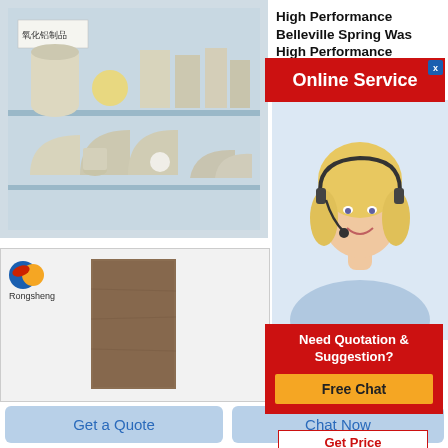[Figure (photo): Shelf display of ceramic/alumina refractory products in cream/beige colors, with Chinese label reading 氧化铝制品]
[Figure (photo): Rongsheng branded product image showing a brown flat gasket tape material swatch on white background]
High Performance Belleville Spring Washer
Metric wash
[Figure (screenshot): Online Service popup banner with red background and white text, plus X close button]
[Figure (photo): Customer service agent photo: smiling blonde woman wearing headset]
9461 Manufacturing High Temperature Flat
Lynn manufacturing 9461high temperature flat gasket tape for
[Figure (screenshot): Need Quotation & Suggestion popup with red background and Free Chat yellow button]
Get Price
Get a Quote
Chat Now